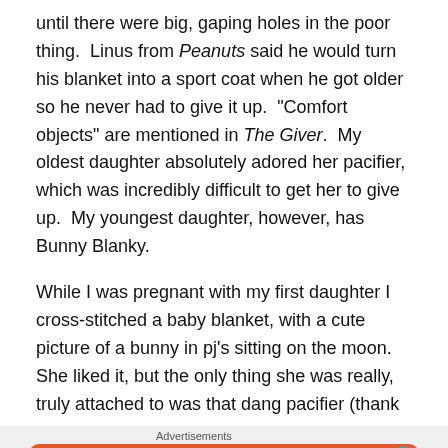until there were big, gaping holes in the poor thing.  Linus from Peanuts said he would turn his blanket into a sport coat when he got older so he never had to give it up.  “Comfort objects” are mentioned in The Giver.  My oldest daughter absolutely adored her pacifier, which was incredibly difficult to get her to give up.  My youngest daughter, however, has Bunny Blanky.
While I was pregnant with my first daughter I cross-stitched a baby blanket, with a cute picture of a bunny in pj’s sitting on the moon.  She liked it, but the only thing she was really, truly attached to was that dang pacifier (thank
Advertisements
[Figure (infographic): DuckDuckGo advertisement banner with orange background. Text reads 'Search, browse, and email with more privacy. All in One Free App' with a smartphone showing the DuckDuckGo logo.]